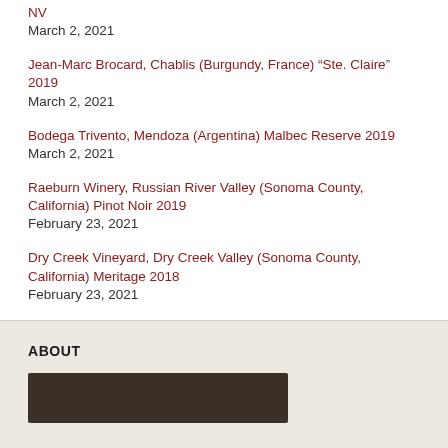NV
March 2, 2021
Jean-Marc Brocard, Chablis (Burgundy, France) “Ste. Claire” 2019
March 2, 2021
Bodega Trivento, Mendoza (Argentina) Malbec Reserve 2019
March 2, 2021
Raeburn Winery, Russian River Valley (Sonoma County, California) Pinot Noir 2019
February 23, 2021
Dry Creek Vineyard, Dry Creek Valley (Sonoma County, California) Meritage 2018
February 23, 2021
ABOUT
[Figure (photo): Dark photograph strip, partial view at bottom of page]